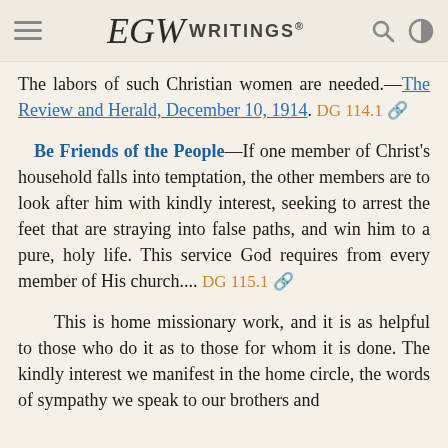EGW Writings
The labors of such Christian women are needed.—The Review and Herald, December 10, 1914. DG 114.1
Be Friends of the People
Be Friends of the People—If one member of Christ's household falls into temptation, the other members are to look after him with kindly interest, seeking to arrest the feet that are straying into false paths, and win him to a pure, holy life. This service God requires from every member of His church.... DG 115.1
This is home missionary work, and it is as helpful to those who do it as to those for whom it is done. The kindly interest we manifest in the home circle, the words of sympathy we speak to our brothers and